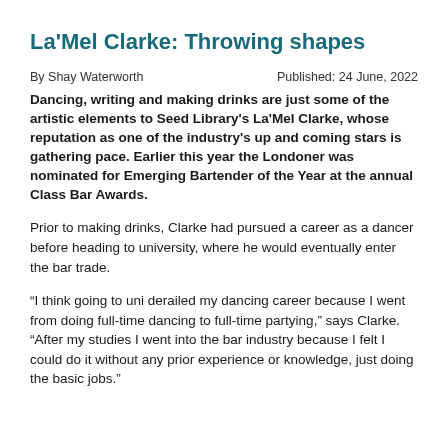La'Mel Clarke: Throwing shapes
By Shay Waterworth
Published: 24 June, 2022
Dancing, writing and making drinks are just some of the artistic elements to Seed Library's La'Mel Clarke, whose reputation as one of the industry's up and coming stars is gathering pace. Earlier this year the Londoner was nominated for Emerging Bartender of the Year at the annual Class Bar Awards.
Prior to making drinks, Clarke had pursued a career as a dancer before heading to university, where he would eventually enter the bar trade.
“I think going to uni derailed my dancing career because I went from doing full-time dancing to full-time partying,” says Clarke. “After my studies I went into the bar industry because I felt I could do it without any prior experience or knowledge, just doing the basic jobs.”